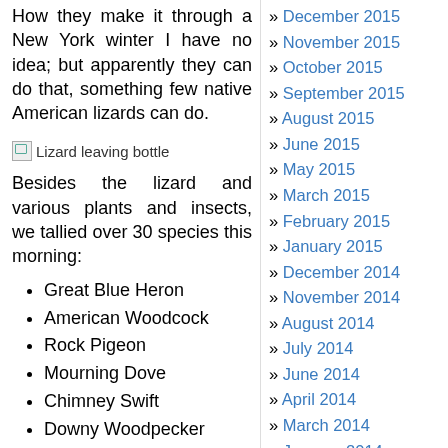How they make it through a New York winter I have no idea; but apparently they can do that, something few native American lizards can do.
[Figure (photo): Broken image placeholder labeled 'Lizard leaving bottle']
Besides the lizard and various plants and insects, we tallied over 30 species this morning:
Great Blue Heron
American Woodcock
Rock Pigeon
Mourning Dove
Chimney Swift
Downy Woodpecker
Northern Flick...
December 2015
November 2015
October 2015
September 2015
August 2015
June 2015
May 2015
March 2015
February 2015
January 2015
December 2014
November 2014
August 2014
July 2014
June 2014
April 2014
March 2014
January 2014
August 2013
June 2013